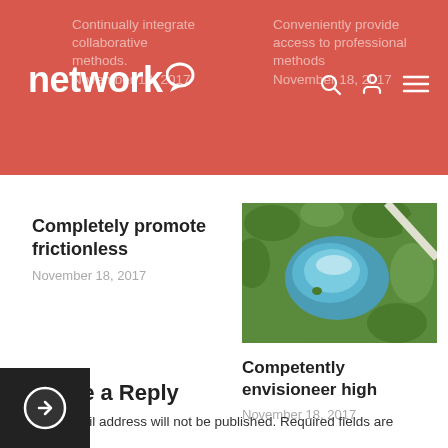network
Continually integrate collaborative methods. November 18, 2017
Conveniently provide access to professional methods. November 18, 2017
Completely promote frictionless
November 18, 2017
[Figure (photo): Aerial view of a lake surrounded by green trees and farmland with a white road]
Competently envisioneer high
November 18, 2017
Leave a Reply
Your email address will not be published. Required fields are marked *